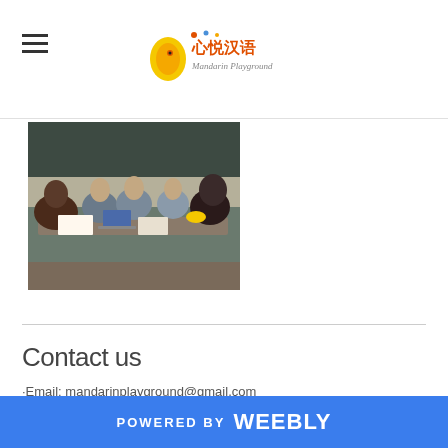Mandarin Playground logo header with hamburger menu
[Figure (photo): Group of people sitting around a table in a classroom setting, working on papers and laptops]
Contact us
·Email: mandarinplayground@gmail.com
POWERED BY weebly